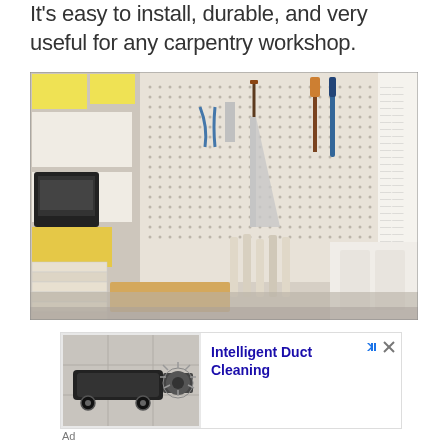It's easy to install, durable, and very useful for any carpentry workshop.
[Figure (photo): Carpentry workshop with pegboard wall holding various tools including hammers, saws, pliers, and other hand tools. Papers and notes pinned on left side. Stacks of materials and containers with chisels on workbench below.]
[Figure (photo): Advertisement: Intelligent Duct Cleaning - image of a robotic duct cleaning machine with rotary brush attachment on tiled floor.]
Ad